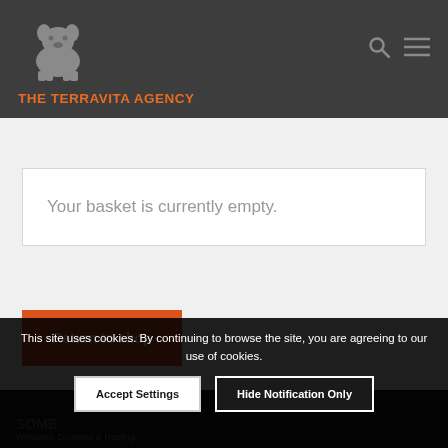[Figure (logo): The Terravita Agency logo with bulldog silhouette icon above the text 'THE TERRAVITA AGENCY' in orange]
Your basket is currently empty.
Return to shop
This site uses cookies. By continuing to browse the site, you are agreeing to our use of cookies.
Accept Settings
Hide Notification Only
SOME
Websites, Domains & Hosting